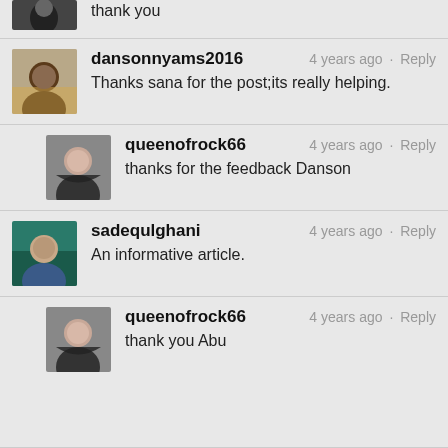thank you
dansonnyams2016 · 4 years ago · Reply
Thanks sana for the post;its really helping.
queenofrock66 · 4 years ago · Reply
thanks for the feedback Danson
sadequlghani · 4 years ago · Reply
An informative article.
queenofrock66 · 4 years ago · Reply
thank you Abu